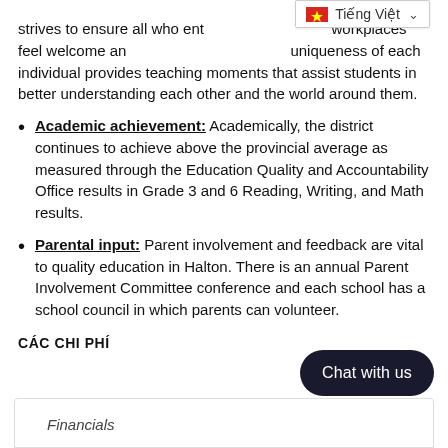strives to ensure all who enter our schools and workplaces feel welcome and respectful. Valuing the uniqueness of each individual provides teaching moments that assist students in better understanding each other and the world around them.
Academic achievement: Academically, the district continues to achieve above the provincial average as measured through the Education Quality and Accountability Office results in Grade 3 and 6 Reading, Writing, and Math results.
Parental input: Parent involvement and feedback are vital to quality education in Halton. There is an annual Parent Involvement Committee conference and each school has a school council in which parents can volunteer.
CÁC CHI PHÍ
Financials